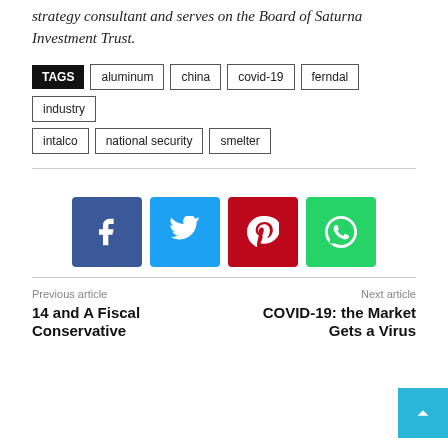strategy consultant and serves on the Board of Saturna Investment Trust.
TAGS: aluminum, china, covid-19, ferndal, industry, intalco, national security, smelter
[Figure (infographic): Social share buttons: Facebook (blue), Twitter (cyan), Pinterest (red), WhatsApp (green)]
Previous article: 14 and A Fiscal Conservative | Next article: COVID-19: the Market Gets a Virus